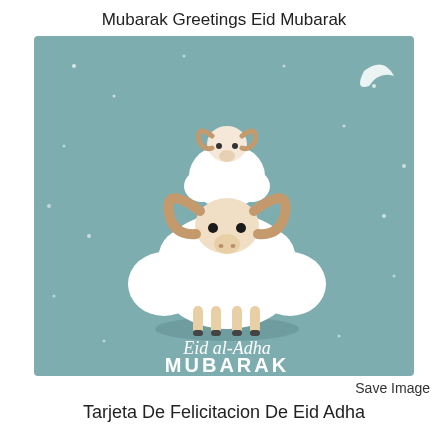Mubarak Greetings Eid Mubarak
[Figure (illustration): Eid al-Adha Mubarak greeting card illustration featuring two cartoon rams/sheep stacked on a teal/muted blue-green background with small white stars and a crescent moon. The larger sheep in front has large curled brown horns and a fluffy white body. A smaller sheep sits on top. The text 'Eid al-Adha MUBARAK' is written in cursive and bold white letters at the bottom of the card.]
Save Image
Tarjeta De Felicitacion De Eid Adha